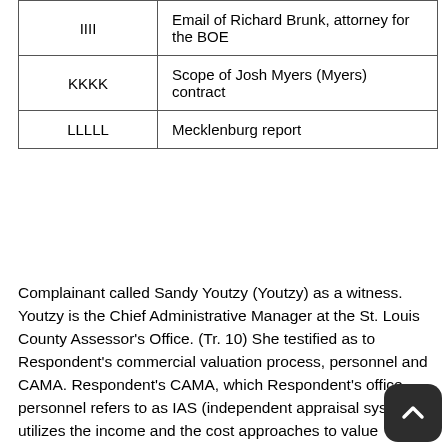| Code | Description |
| --- | --- |
| IIII | Email of Richard Brunk, attorney for the BOE |
| KKKK | Scope of Josh Myers (Myers) contract |
| LLLLL | Mecklenburg report |
Complainant called Sandy Youtzy (Youtzy) as a witness. Youtzy is the Chief Administrative Manager at the St. Louis County Assessor's Office. (Tr. 10) She testified as to Respondent's commercial valuation process, personnel and CAMA. Respondent's CAMA, which Respondent's office personnel refers to as IAS (independent appraisal system), utilizes the income and the cost approaches to value commercial property. (Tr. 14) Youtzy testified that she supervises the County's commercial valuation manager. (Tr. 11) The position of commercial valuation manager was vacant during the reassessment for 2017. (Tr. She testified that there were additional vacancies in 2016-20